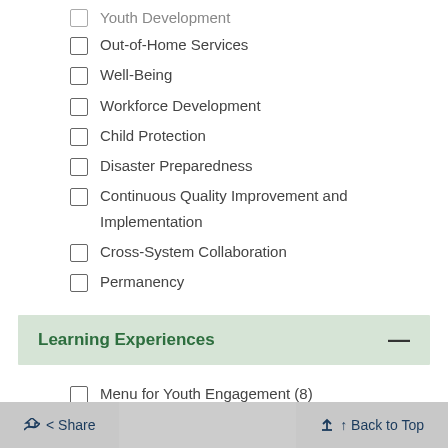Youth Development
Out-of-Home Services
Well-Being
Workforce Development
Child Protection
Disaster Preparedness
Continuous Quality Improvement and Implementation
Cross-System Collaboration
Permanency
Learning Experiences
Menu for Youth Engagement (8)
Share   Back to Top